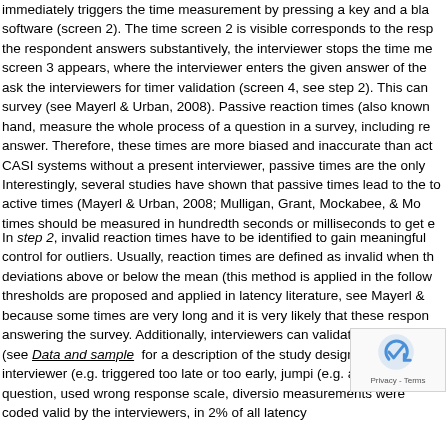immediately triggers the time measurement by pressing a key and a bla software (screen 2). The time screen 2 is visible corresponds to the resp the respondent answers substantively, the interviewer stops the time me screen 3 appears, where the interviewer enters the given answer of the ask the interviewers for timer validation (screen 4, see step 2). This can survey (see Mayerl & Urban, 2008). Passive reaction times (also known hand, measure the whole process of a question in a survey, including re answer. Therefore, these times are more biased and inaccurate than act CASI systems without a present interviewer, passive times are the only Interestingly, several studies have shown that passive times lead to the to active times (Mayerl & Urban, 2008; Mulligan, Grant, Mockabee, & Mo times should be measured in hundredth seconds or milliseconds to get e
In step 2, invalid reaction times have to be identified to gain meaningful control for outliers. Usually, reaction times are defined as invalid when th deviations above or below the mean (this method is applied in the follow thresholds are proposed and applied in latency literature, see Mayerl & because some times are very long and it is very likely that these respon answering the survey. Additionally, interviewers can validate each respo (see Data and sample for a description of the study design), error by interviewer (e.g. triggered too late or too early, jumpi (e.g. asked a question, used wrong response scale, diversio measurements were coded valid by the interviewers, in 2% of all latency